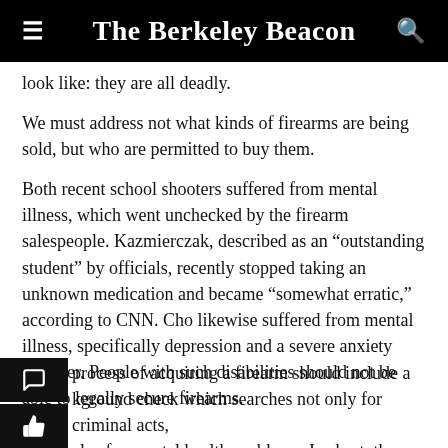The Berkeley Beacon
look like: they are all deadly.
We must address not what kinds of firearms are being sold, but who are permitted to buy them.
Both recent school shooters suffered from mental illness, which went unchecked by the firearm salespeople. Kazmierczak, described as an “outstanding student” by officials, recently stopped taking an unknown medication and became “somewhat erratic,” according to CNN. Cho likewise suffered from mental illness, specifically depression and a severe anxiety disorder. People with such disabilities should not be able to legally secure firearms.
process of acquiring a firearm should include a kground check which searches not only for criminal acts, also for mental health problems. In short, they must be